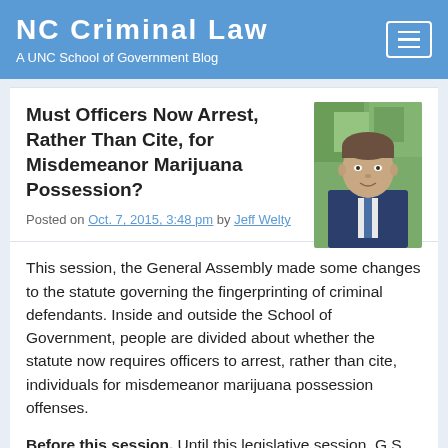NC Criminal Law — A UNC School of Government Blog
Must Officers Now Arrest, Rather Than Cite, for Misdemeanor Marijuana Possession?
Posted on Oct. 7, 2015, 3:48 pm by Jeff Welty
[Figure (photo): Headshot of Jeff Welty, a man in a suit, outdoors with green foliage background]
This session, the General Assembly made some changes to the statute governing the fingerprinting of criminal defendants. Inside and outside the School of Government, people are divided about whether the statute now requires officers to arrest, rather than cite, individuals for misdemeanor marijuana possession offenses.
Before this session. Until this legislative session, G.S. 15A-502(a) generally permitted criminal defendants to be